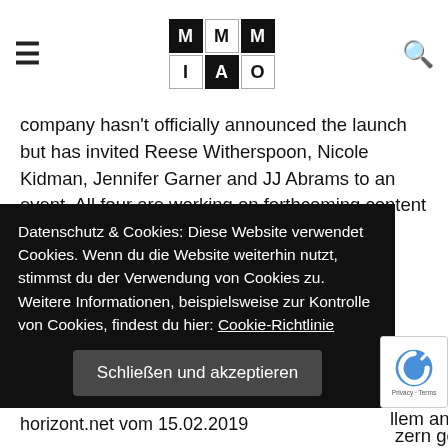[Figure (logo): MMIO logo grid - 3x2 grid with letters M, M, M, I, A, O in alternating black and white cells]
company hasn't officially announced the launch but has invited Reese Witherspoon, Nicole Kidman, Jennifer Garner and JJ Abrams to an event. All four are working on forthcoming content for the expected streamer.
horizont.net vom 13.02.2019
Publisher kritisieren Apples geplanten Newsservice
Apple verhandelt mit US-Medienhäusern über ein neues Abo-Angebot. Der geplante Newsdienst stößt bei den Publishern aber auf... llem an den ... zern gegen eine ... Medieninhalte ... s Modell ... ienhäuser.
Datenschutz & Cookies: Diese Website verwendet Cookies. Wenn du die Website weiterhin nutzt, stimmst du der Verwendung von Cookies zu. Weitere Informationen, beispielsweise zur Kontrolle von Cookies, findest du hier: Cookie-Richtlinie
Schließen und akzeptieren